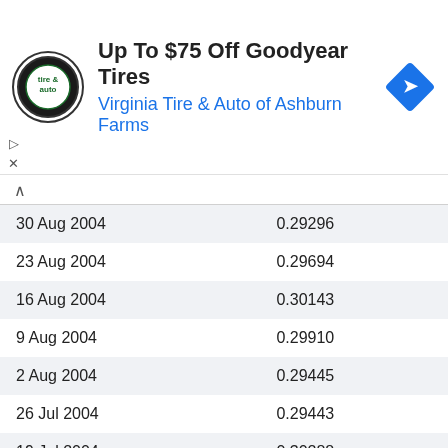[Figure (other): Advertisement banner for Virginia Tire & Auto of Ashburn Farms featuring Goodyear Tires promotion logo and navigation icon]
Up To $75 Off Goodyear Tires
Virginia Tire & Auto of Ashburn Farms
| Date | Value |
| --- | --- |
| 30 Aug 2004 | 0.29296 |
| 23 Aug 2004 | 0.29694 |
| 16 Aug 2004 | 0.30143 |
| 9 Aug 2004 | 0.29910 |
| 2 Aug 2004 | 0.29445 |
| 26 Jul 2004 | 0.29443 |
| 19 Jul 2004 | 0.30288 |
| 12 Jul 2004 | 0.30214 |
| 5 Jul 2004 | 0.30213 |
| 28 Jun 2004 | 0.29939 |